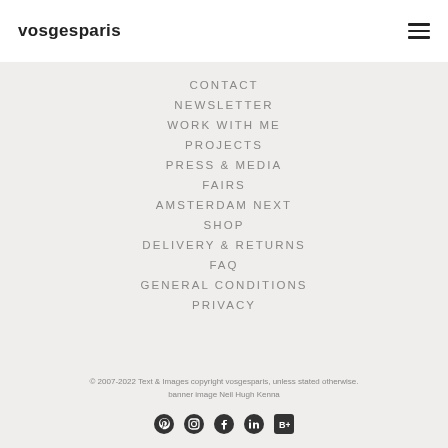vosgesparis
CONTACT
NEWSLETTER
WORK WITH ME
PROJECTS
PRESS & MEDIA
FAIRS
AMSTERDAM NEXT
SHOP
DELIVERY & RETURNS
FAQ
GENERAL CONDITIONS
PRIVACY
© 2007-2022 Text & Images copyright vosgesparis, unless stated otherwise. banner image Neil Hugh Kenna